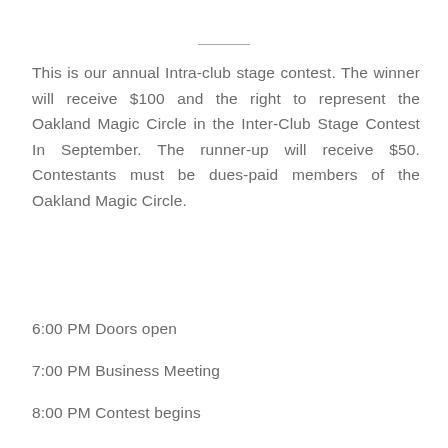This is our annual Intra-club stage contest. The winner will receive $100 and the right to represent the Oakland Magic Circle in the Inter-Club Stage Contest In September. The runner-up will receive $50. Contestants must be dues-paid members of the Oakland Magic Circle.
6:00 PM Doors open
7:00 PM Business Meeting
8:00 PM Contest begins